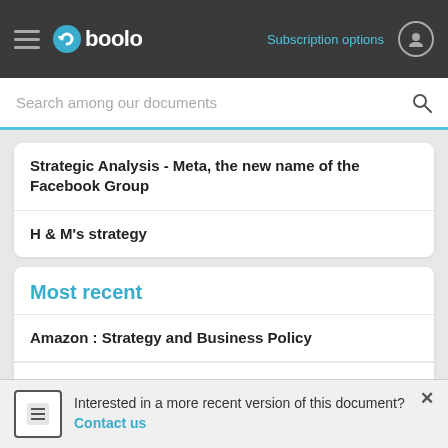Gboolo — Subscription options
Search among our documents
Strategic Analysis - Meta, the new name of the Facebook Group
H & M's strategy
Most recent
Amazon : Strategy and Business Policy
Fintech: Between Synergy and Power Struggle in the Banking and Financial Sector
Strategic Analys...
SWOT Analysis -
Interested in a more recent version of this document? Contact us